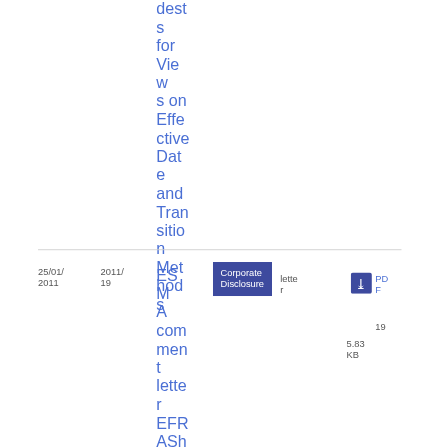dests for Views on Effective Date and Transition Methods
| Date | Ref | Title | Type | Form | PDF | Pages | Size |
| --- | --- | --- | --- | --- | --- | --- | --- |
| 25/01/2011 | 2011/19 | ESMA comment letter EFRASh... | Corporate Disclosure | letter | PDF | 19 | 5.83 KB |